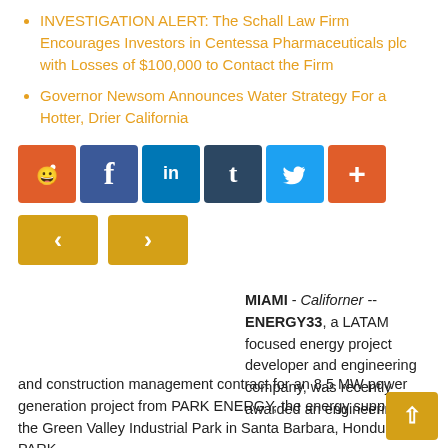INVESTIGATION ALERT: The Schall Law Firm Encourages Investors in Centessa Pharmaceuticals plc with Losses of $100,000 to Contact the Firm
Governor Newsom Announces Water Strategy For a Hotter, Drier California
[Figure (other): Social media share buttons: Reddit (orange), Facebook (blue), LinkedIn (blue), Tumblr (dark blue), Twitter (light blue), Plus/More (orange-red)]
[Figure (other): Navigation arrows: left arrow button and right arrow button, gold/amber colored]
MIAMI - Californer -- ENERGY33, a LATAM focused energy project developer and engineering company, was recently awarded an engineering and construction management contract for an 8.5 MW power generation project from PARK ENERGY, the energy supplier to the Green Valley Industrial Park in Santa Barbara, Honduras. PARK